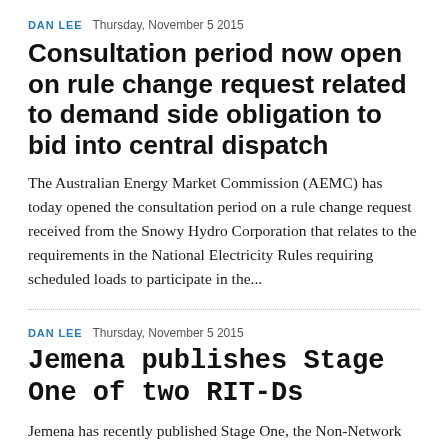DAN LEE   Thursday, November 5 2015
Consultation period now open on rule change request related to demand side obligation to bid into central dispatch
The Australian Energy Market Commission (AEMC) has today opened the consultation period on a rule change request received from the Snowy Hydro Corporation that relates to the requirements in the National Electricity Rules requiring scheduled loads to participate in the...
DAN LEE   Thursday, November 5 2015
Jemena publishes Stage One of two RIT-Ds
Jemena has recently published Stage One, the Non-Network Options Report, of two Regulatory Investment Tests for Distribution (RIT-Ds). The